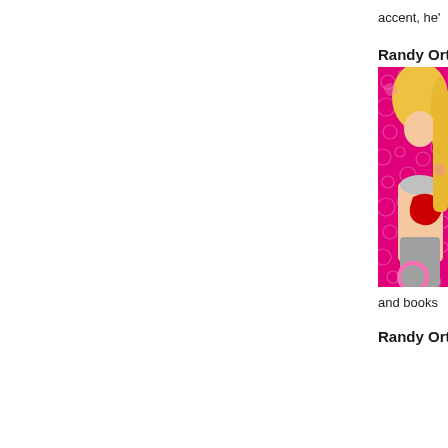accent, he'
Randy Ort
[Figure (photo): Photo of a blonde woman against a bright pink background with decorative circle/loop patterns. She is wearing silver and red clothing and posing.]
and books
Randy Ort